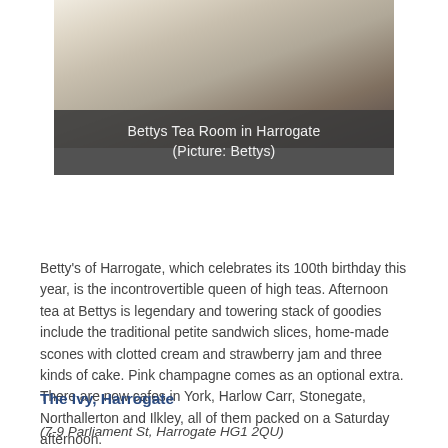[Figure (photo): Photo of Bettys Tea Room interior in Harrogate showing white tablecloths and chairs]
Bettys Tea Room in Harrogate
(Picture: Bettys)
Betty's of Harrogate, which celebrates its 100th birthday this year, is the incontrovertible queen of high teas. Afternoon tea at Bettys is legendary and towering stack of goodies include the traditional petite sandwich slices, home-made scones with clotted cream and strawberry jam and three kinds of cake. Pink champagne comes as an optional extra. There are now cafes in York, Harlow Carr, Stonegate, Northallerton and Ilkley, all of them packed on a Saturday afternoon.
The Ivy, Harrogate
(7-9 Parliament St, Harrogate HG1 2QU)